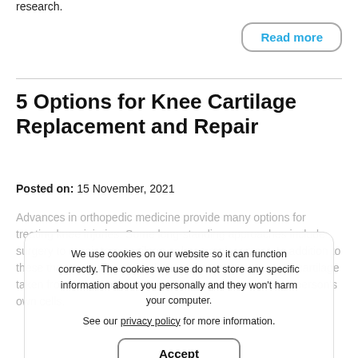research.
Read more
5 Options for Knee Cartilage Replacement and Repair
Posted on: 15 November, 2021
Advances in orthopedic medicine provide many options for treating knee injuries. Some long-standing approaches include surgery to repair torn cartilage or knee replacement. In addition to these there are now minimally invasive treatments using cartilage taken from elsewhere in the body or regenerated from a person's own cells.
We use cookies on our website so it can function correctly. The cookies we use do not store any specific information about you personally and they won't harm your computer.

See our privacy policy for more information.
Accept